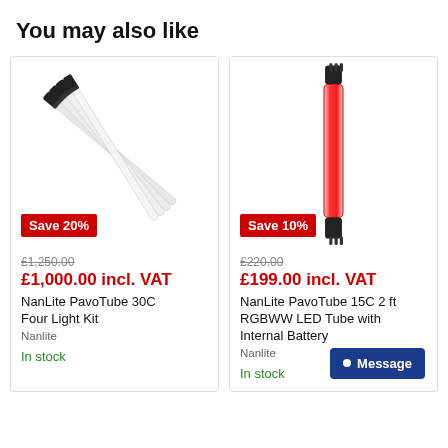You may also like
[Figure (photo): NanLite PavoTube 30C Four Light Kit - four white LED tube lights with black connectors fanned out diagonally]
Save 20%
£1,250.00
£1,000.00 incl. VAT
NanLite PavoTube 30C Four Light Kit
Nanlite
In stock
[Figure (photo): NanLite PavoTube 15C 2ft RGBWW LED Tube with Internal Battery - single vertical red-glowing LED tube with black connectors at top and bottom]
Save 10%
£220.00
£199.00 incl. VAT
NanLite PavoTube 15C 2 ft RGBWW LED Tube with Internal Battery
Nanlite
In stock